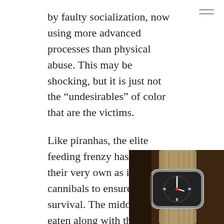by faulty socialization, now using more advanced processes than physical abuse. This may be shocking, but it is just not the “undesirables” of color that are the victims.

Like piranhas, the elite feeding frenzy has turned on their very own as if cannibals to ensure their elite survival. The middle class is eaten along with the lower class regardless of color. Fear, scarcity, and divisiveness are frequently employed to generate the ignorance of crash dummies to camouflage how you, too, have been programmed with lies and social engineering. They then clone their influence and have you turn on each other in a futile attempt chasing your tail while they prosper.
[Figure (photo): Close-up photo of a vintage wristwatch with a dark dial on a tan/khaki NATO strap, against a dark brown background. The watch appears to be a classic diver-style timepiece.]